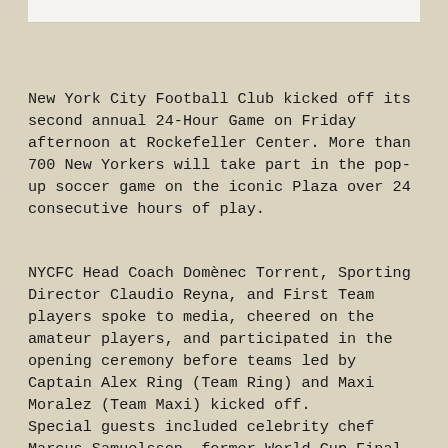New York City Football Club kicked off its second annual 24-Hour Game on Friday afternoon at Rockefeller Center. More than 700 New Yorkers will take part in the pop-up soccer game on the iconic Plaza over 24 consecutive hours of play.
NYCFC Head Coach Domènec Torrent, Sporting Director Claudio Reyna, and First Team players spoke to media, cheered on the amateur players, and participated in the opening ceremony before teams led by Captain Alex Ring (Team Ring) and Maxi Moralez (Team Maxi) kicked off.
Special guests included celebrity chef Marcus Samuelsson, former World Cup Final